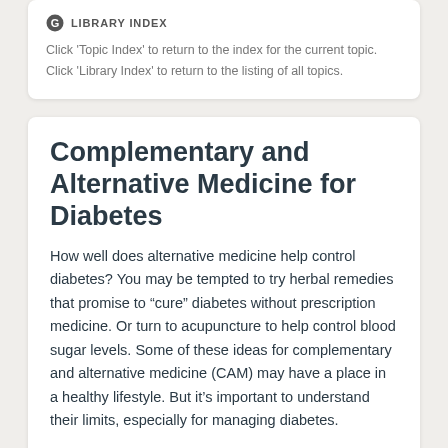LIBRARY INDEX
Click 'Topic Index' to return to the index for the current topic.
Click 'Library Index' to return to the listing of all topics.
Complementary and Alternative Medicine for Diabetes
How well does alternative medicine help control diabetes? You may be tempted to try herbal remedies that promise to “cure” diabetes without prescription medicine. Or turn to acupuncture to help control blood sugar levels. Some of these ideas for complementary and alternative medicine (CAM) may have a place in a healthy lifestyle. But it’s important to understand their limits, especially for managing diabetes.
Nutritional supplements, plants, and herbs